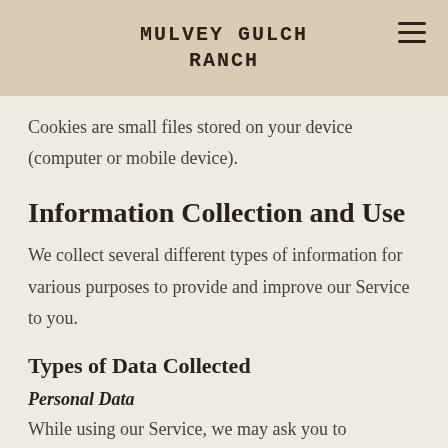MULVEY GULCH RANCH
Cookies are small files stored on your device (computer or mobile device).
Information Collection and Use
We collect several different types of information for various purposes to provide and improve our Service to you.
Types of Data Collected
Personal Data
While using our Service, we may ask you to